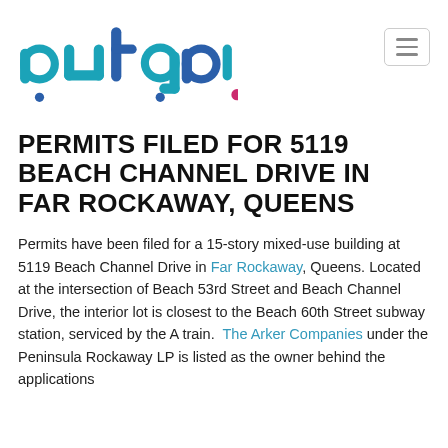[Figure (logo): aufgang. logo in teal/blue rounded lettering with a magenta period]
PERMITS FILED FOR 5119 BEACH CHANNEL DRIVE IN FAR ROCKAWAY, QUEENS
Permits have been filed for a 15-story mixed-use building at 5119 Beach Channel Drive in Far Rockaway, Queens. Located at the intersection of Beach 53rd Street and Beach Channel Drive, the interior lot is closest to the Beach 60th Street subway station, serviced by the A train. The Arker Companies under the Peninsula Rockaway LP is listed as the owner behind the applications